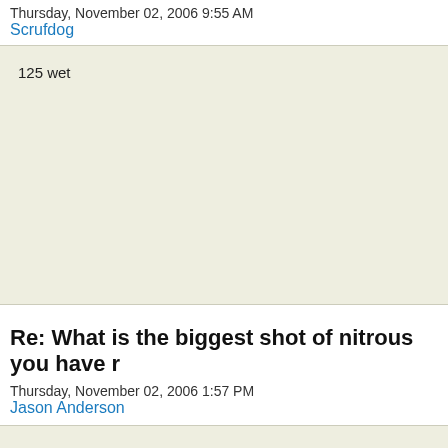Thursday, November 02, 2006 9:55 AM
Scrufdog
125 wet
Re: What is the biggest shot of nitrous you have r
Thursday, November 02, 2006 1:57 PM
Jason Anderson
150 shot was the largest shot on a stock motor. 300 shot was the largest shot on a built motor.